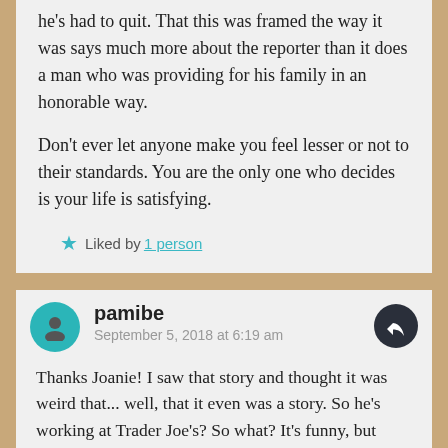he's had to quit. That this was framed the way it was says much more about the reporter than it does a man who was providing for his family in an honorable way.

Don't ever let anyone make you feel lesser or not to their standards. You are the only one who decides is your life is satisfying.

★ Liked by 1 person
pamibe
September 5, 2018 at 6:19 am

Thanks Joanie! I saw that story and thought it was weird that... well, that it even was a story. So he's working at Trader Joe's? So what? It's funny, but people aren't ashamed that they